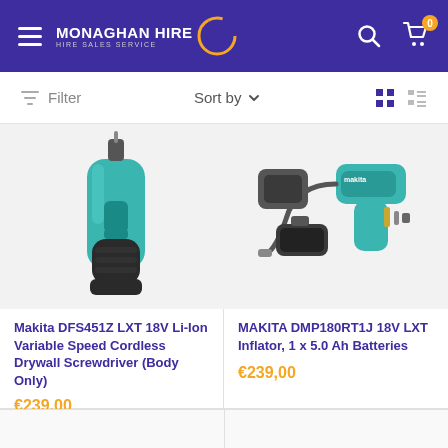Monaghan Hire — Hire Sales Service
Filter   Sort by
[Figure (photo): Makita DFS451Z LXT 18V cordless drywall screwdriver, teal/black, body only, shown from the front]
[Figure (photo): MAKITA DMP180RT1J 18V LXT Inflator kit with battery, charger, and accessories shown]
Makita DFS451Z LXT 18V Li-Ion Variable Speed Cordless Drywall Screwdriver (Body Only)
€239,00
MAKITA DMP180RT1J 18V LXT Inflator, 1 x 5.0 Ah Batteries
€239,00